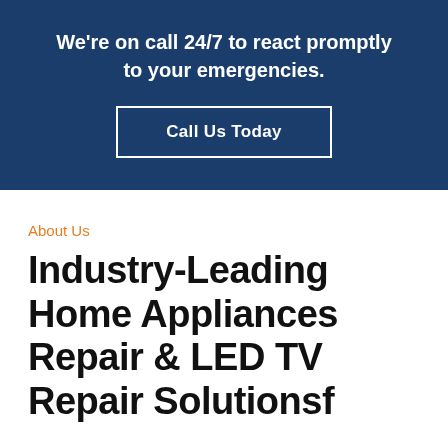We're on call 24/7 to react promptly to your emergencies.
Call Us Today
About Us
Industry-Leading Home Appliances Repair & LED TV Repair Solutionsf